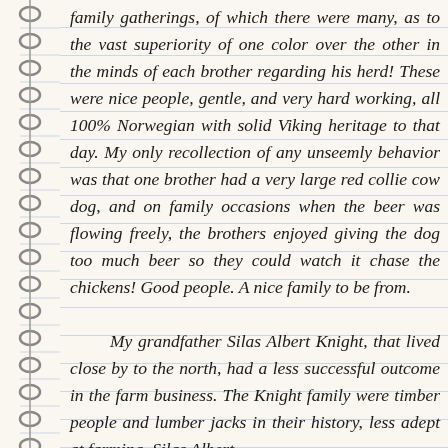family gatherings, of which there were many, as to the vast superiority of one color over the other in the minds of each brother regarding his herd! These were nice people, gentle, and very hard working, all 100% Norwegian with solid Viking heritage to that day. My only recollection of any unseemly behavior was that one brother had a very large red collie cow dog, and on family occasions when the beer was flowing freely, the brothers enjoyed giving the dog too much beer so they could watch it chase the chickens! Good people. A nice family to be from.

      My grandfather Silas Albert Knight, that lived close by to the north, had a less successful outcome in the farm business. The Knight family were timber people and lumber jacks in their history, less adept at farming. Silas Albert Knight...